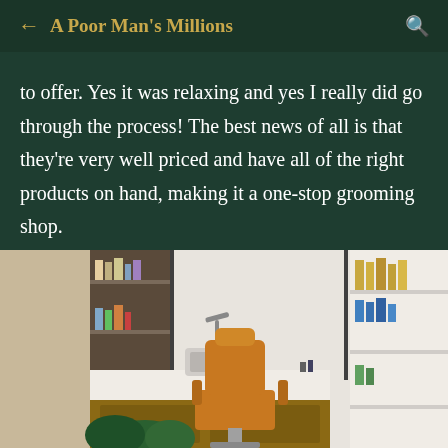A Poor Man's Millions
to offer. Yes it was relaxing and yes I really did go through the process! The best news of all is that they're very well priced and have all of the right products on hand, making it a one-stop grooming shop.
[Figure (photo): Interior of a modern barbershop showing a tan leather barber chair in the center, a white sink counter with grooming products on shelves in the background, and product shelves on the right side.]